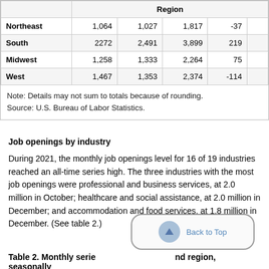|  |  |  | Region |  |  |
| --- | --- | --- | --- | --- | --- |
| Northeast | 1,064 | 1,027 | 1,817 | -37 |  |
| South | 2272 | 2,491 | 3,899 | 219 |  |
| Midwest | 1,258 | 1,333 | 2,264 | 75 |  |
| West | 1,467 | 1,353 | 2,374 | -114 |  |
Note: Details may not sum to totals because of rounding.
Source: U.S. Bureau of Labor Statistics.
Job openings by industry
During 2021, the monthly job openings level for 16 of 19 industries reached an all-time series high. The three industries with the most job openings were professional and business services, at 2.0 million in October; healthcare and social assistance, at 2.0 million in December; and accommodation and food services, at 1.8 million in December. (See table 2.)
Table 2. Monthly serie... nd region, seasonally